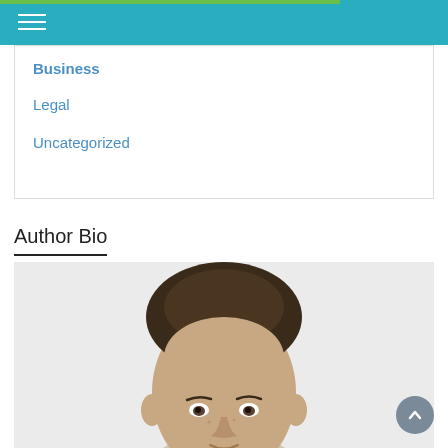Navigation menu
Business
Legal
Uncategorized
Author Bio
[Figure (photo): Headshot photo of a young man with curly brown hair against a light grey background]